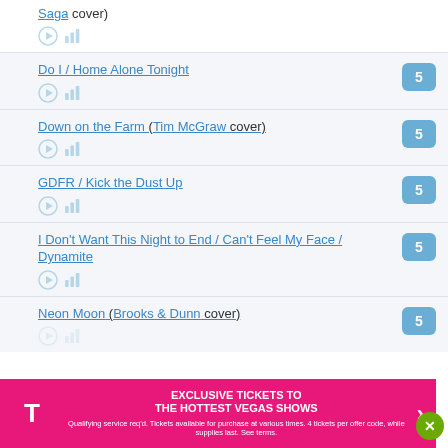Saga cover)
Do I / Home Alone Tonight — 5
Down on the Farm (Tim McGraw cover) — 5
GDFR / Kick the Dust Up — 5
I Don't Want This Night to End / Can't Feel My Face / Dynamite — 5
Neon Moon (Brooks & Dunn cover) — 5
[Figure (infographic): T-Mobile advertisement banner: EXCLUSIVE TICKETS TO THE HOTTEST VEGAS SHOWS. Qualifying service req'd. Tickets available for purchase at various times. 4 tickets per offer code, while supplies last. See terms.]